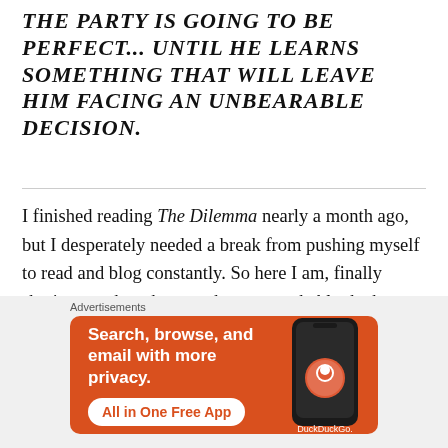THE PARTY IS GOING TO BE PERFECT... UNTIL HE LEARNS SOMETHING THAT WILL LEAVE HIM FACING AN UNBEARABLE DECISION.
I finished reading The Dilemma nearly a month ago, but I desperately needed a break from pushing myself to read and blog constantly. So here I am, finally sharing my thoughts on what was probably the best two-star book I've ever read, if that's a possible classification. 😉
[Figure (infographic): DuckDuckGo advertisement banner with orange background. Text reads: 'Search, browse, and email with more privacy. All in One Free App' with a DuckDuckGo logo and a phone graphic.]